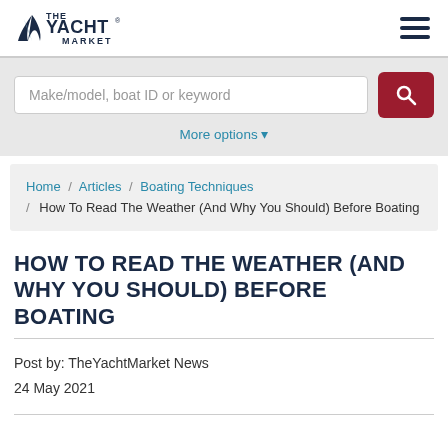The Yacht Market logo and navigation
[Figure (logo): The Yacht Market logo with sailboat wave icon and hamburger menu icon]
Make/model, boat ID or keyword
More options
Home / Articles / Boating Techniques / How To Read The Weather (And Why You Should) Before Boating
HOW TO READ THE WEATHER (AND WHY YOU SHOULD) BEFORE BOATING
Post by: TheYachtMarket News
24 May 2021